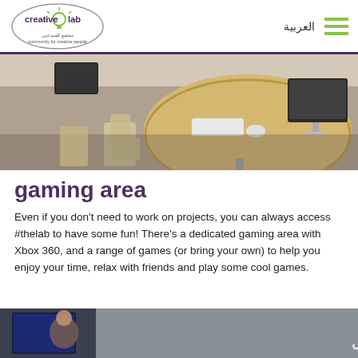[Figure (logo): Creative Lab logo — oval outline with lightbulb, text 'creative lab' and Arabic/English subtitle 'community for creative people']
[Figure (photo): Top-down view of a workspace with a round light-wood table, chairs, and iMac computers]
gaming area
Even if you don't need to work on projects, you can always access #thelab to have some fun! There's a dedicated gaming area with Xbox 360, and a range of games (or bring your own) to help you enjoy your time, relax with friends and play some cool games.
[Figure (photo): Bottom photo showing a room interior with Arabic text overlay reading #غرفة التسجيل]